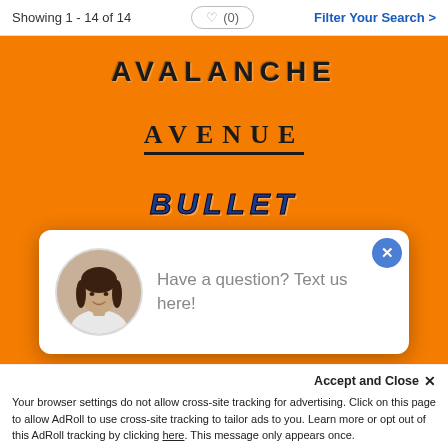Showing 1 - 14 of 14  ♥ (0)  Filter Your Search >
[Figure (screenshot): Orange background area showing three brand logos stacked vertically: AVALANCHE (bold dark text), AVENUE (serif with underline), and BULLET (bold italic blue). A chat popup overlays the bottom portion with a woman's portrait photo and text 'Have a question? Text us here!']
Have a question? Text us here!
Your browser settings do not allow cross-site tracking for advertising. Click on this page to allow AdRoll to use cross-site tracking to tailor ads to you. Learn more or opt out of this AdRoll tracking by clicking here. This message only appears once.